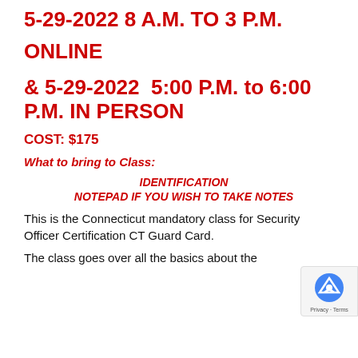5-29-2022 8 A.M. TO 3 P.M.
ONLINE
& 5-29-2022  5:00 P.M. to 6:00 P.M. IN PERSON
COST: $175
What to bring to Class:
IDENTIFICATION
NOTEPAD IF YOU WISH TO TAKE NOTES
This is the Connecticut mandatory class for Security Officer Certification CT Guard Card.
The class goes over all the basics about the